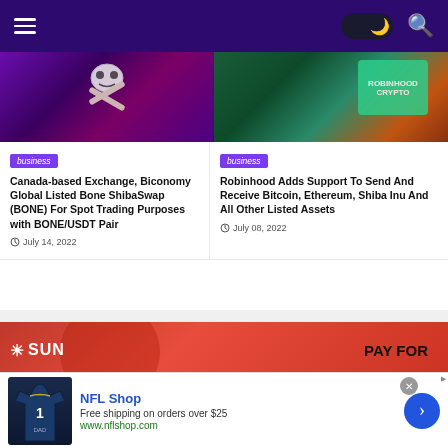Navigation bar with hamburger menu, dark mode toggle, and search icon
[Figure (photo): Cryptocurrency/Shiba Inu themed image with dark purple background and skull-like graphic]
[Figure (photo): Robinhood app screenshot with teal/green digital display and orange background]
business
business
Canada-based Exchange, Biconomy Global Listed Bone ShibaSwap (BONE) For Spot Trading Purposes with BONE/USDT Pair
Robinhood Adds Support To Send And Receive Bitcoin, Ethereum, Shiba Inu And All Other Listed Assets
July 14, 2022
July 08, 2022
[Figure (other): Advertisement banner: SUN logo with PAY FOR text on red gradient background]
[Figure (other): Google Ad: NFL Shop - Free shipping on orders over $25 - www.nflshop.com, with Dallas Cowboys jersey image and blue arrow button]